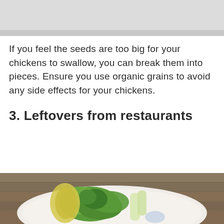[Figure (photo): Partial top photo, gray/light colored image cropped at top of page]
If you feel the seeds are too big for your chickens to swallow, you can break them into pieces. Ensure you use organic grains to avoid any side effects for your chickens.
3. Leftovers from restaurants
[Figure (photo): A plate of salad with green leafy vegetables, avocado, broccoli and other vegetables on a wooden table surface, partially cropped at bottom of page]